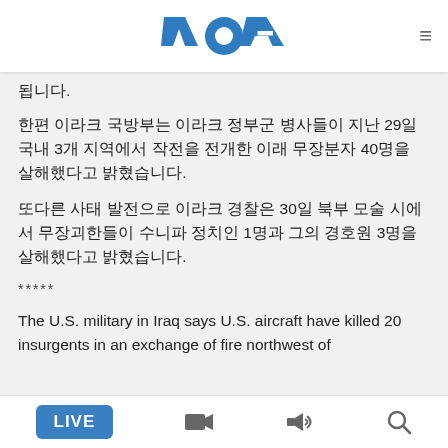VOA
됩니다.
한편 이라크 국방부는 이라크 정부군 병사들이 지난 29일 국내 3개 지역에서 작전을 전개한 이래 무장분자 40명을 살해했다고 밝혔습니다.
또다른 사태 발전으로 이라크 경찰은 30일 북부 모술 시에서 무장괴한들이 수니파 정치인 1명과 그의 경호원 3명을 살해했다고 밝혔습니다.
*****
The U.S. military in Iraq says U.S. aircraft have killed 20 insurgents in an exchange of fire northwest of